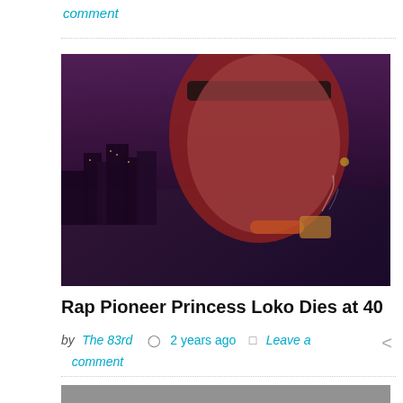comment
[Figure (photo): Close-up photo of a person singing or rapping with a microphone, wearing a headband, with a city skyline visible in the background under purple-toned lighting.]
Rap Pioneer Princess Loko Dies at 40
by The 83rd  2 years ago  Leave a comment
[Figure (photo): Photo of three people outdoors; two people appear to be assisting or restraining a third person who is on the ground near a curved bench or structure.]